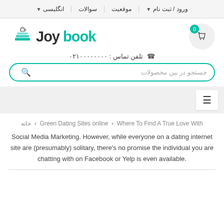ورود / ثبت نام | موقعیت | سوالات | انگلیسی
[Figure (logo): Joy book logo with stacked books and coffee cup icon]
تلفن تماس : ۰۲۱۰۰۰۰۰۰۰
جستجو در بین محصولات
خانه › Where To Find A True Love With › Green Dating Sites online
Social Media Marketing. However, while everyone on a dating internet site are (presumably) solitary, there's no promise the individual you are chatting with on Facebook or Yelp is even available.